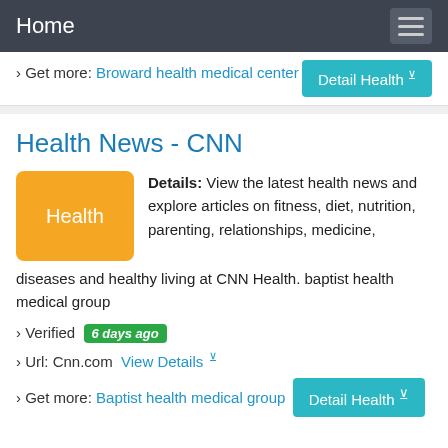Home
› Get more: Broward health medical center
Detail Health
Health News - CNN
Details: View the latest health news and explore articles on fitness, diet, nutrition, parenting, relationships, medicine, diseases and healthy living at CNN Health. baptist health medical group
› Verified  6 days ago
› Url: Cnn.com  View Details
› Get more: Baptist health medical group
Detail Health